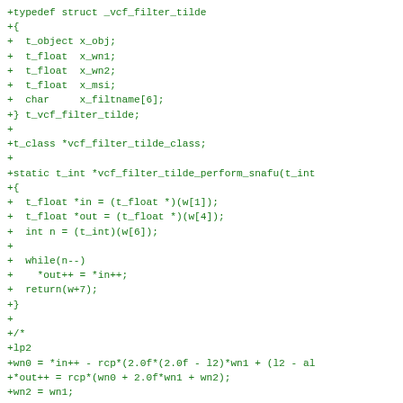+typedef struct _vcf_filter_tilde
+{
+  t_object x_obj;
+  t_float  x_wn1;
+  t_float  x_wn2;
+  t_float  x_msi;
+  char     x_filtname[6];
+} t_vcf_filter_tilde;
+
+t_class *vcf_filter_tilde_class;
+
+static t_int *vcf_filter_tilde_perform_snafu(t_int
+{
+  t_float *in = (t_float *)(w[1]);
+  t_float *out = (t_float *)(w[4]);
+  int n = (t_int)(w[6]);
+
+  while(n--)
+    *out++ = *in++;
+  return(w+7);
+}
+
+/*
+lp2
+wn0 = *in++ - rcp*(2.0f*(2.0f - l2)*wn1 + (l2 - al
+*out++ = rcp*(wn0 + 2.0f*wn1 + wn2);
+wn2 = wn1;
+wn1 = wn0;
+
+  bp2